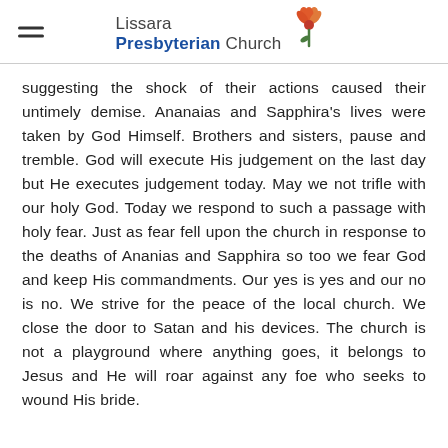Lissara Presbyterian Church
suggesting the shock of their actions caused their untimely demise. Ananaias and Sapphira's lives were taken by God Himself. Brothers and sisters, pause and tremble. God will execute His judgement on the last day but He executes judgement today. May we not trifle with our holy God. Today we respond to such a passage with holy fear. Just as fear fell upon the church in response to the deaths of Ananias and Sapphira so too we fear God and keep His commandments. Our yes is yes and our no is no. We strive for the peace of the local church. We close the door to Satan and his devices. The church is not a playground where anything goes, it belongs to Jesus and He will roar against any foe who seeks to wound His bride.